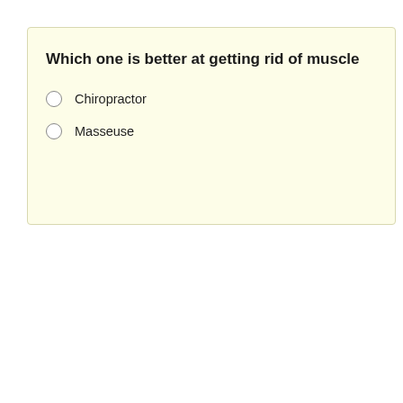Which one is better at getting rid of muscle
Chiropractor
Masseuse